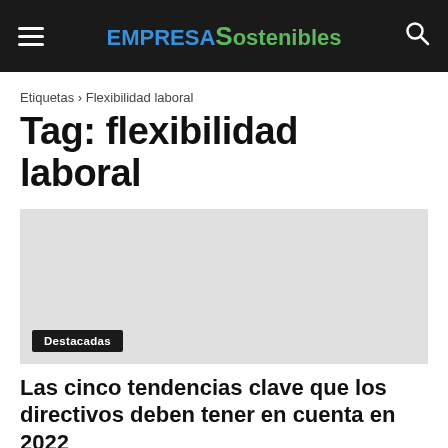EMPRESA Sostenibles
Etiquetas › Flexibilidad laboral
Tag: flexibilidad laboral
[Figure (photo): Large article image placeholder (gray area)]
Destacadas
Las cinco tendencias clave que los directivos deben tener en cuenta en 2022